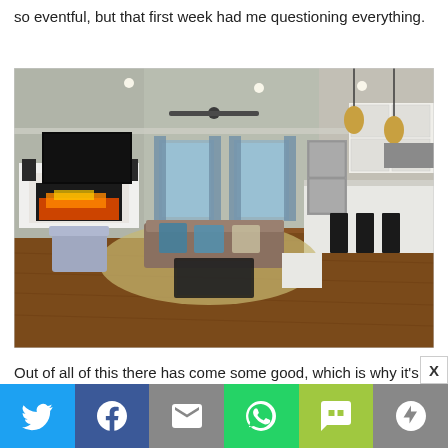so eventful, but that first week had me questioning everything.
[Figure (photo): Interior photo of an open-plan living room and kitchen with hardwood floors, a fireplace, ceiling fan, large flat-screen TV, sofa with cushions, and a kitchen island with bar stools.]
Out of all of this there has come some good, which is why it’s so hard for me to say goodbye. After that first awful
Social sharing bar with Twitter, Facebook, Email, WhatsApp, SMS, and More buttons